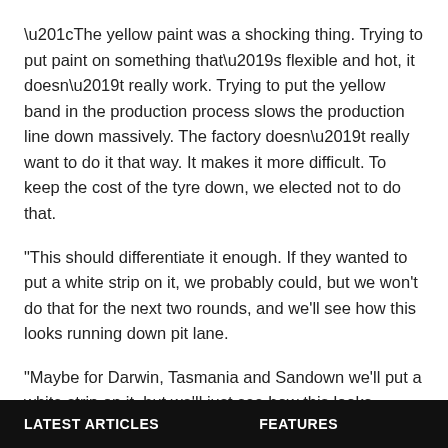“The yellow paint was a shocking thing. Trying to put paint on something that’s flexible and hot, it doesn’t really work. Trying to put the yellow band in the production process slows the production line down massively. The factory doesn’t really want to do it that way. It makes it more difficult. To keep the cost of the tyre down, we elected not to do that.
"This should differentiate it enough. If they wanted to put a white strip on it, we probably could, but we won’t do that for the next two rounds, and we’ll see how this looks running down pit lane.
"Maybe for Darwin, Tasmania and Sandown we’ll put a white strip on it, but we’ll just see how this looks driving down pit lane which is a critical thing for the officials on the timing monitors to know who is on the soft tyre and who isn’t.
“Hopefully, this is fulfils what we need. You lose a whole day
LATEST ARTICLES    FEATURES